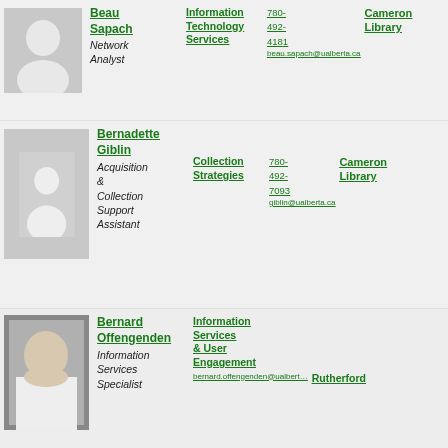[Figure (photo): Placeholder silhouette photo for Beau Sapach]
Beau Sapach
Network Analyst
Information Technology Services
780-492-4181
beau.sapach@ualberta.ca
Cameron Library
[Figure (photo): Placeholder silhouette photo for Bernadette Giblin]
Bernadette Giblin
Acquisition & Collection Support Assistant
Collection Strategies
780-492-7093
giblin@ualberta.ca
Cameron Library
[Figure (photo): Photo of Bernard Offengenden]
Bernard Offengenden
Information Services Specialist
Information Services & User Engagement
bernard.offengenden@ualberta.ca
Rutherford
[Figure (photo): Placeholder silhouette photo for Bernard]
Bernard
Research &